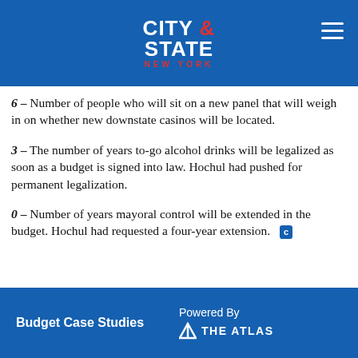CITY & STATE NEW YORK
6 – Number of people who will sit on a new panel that will weigh in on whether new downstate casinos will be located.
3 – The number of years to-go alcohol drinks will be legalized as soon as a budget is signed into law. Hochul had pushed for permanent legalization.
0 – Number of years mayoral control will be extended in the budget. Hochul had requested a four-year extension. [c]
Budget Case Studies   Powered By   THE ATLAS